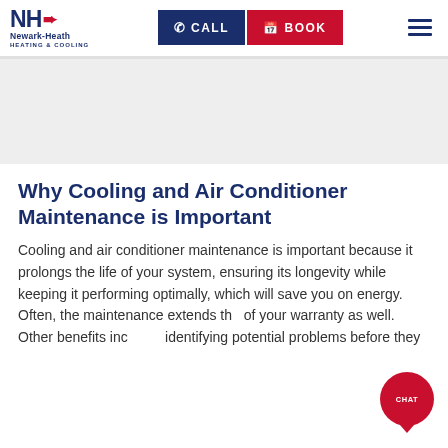[Figure (logo): Newark-Heath Heating & Cooling logo with NH initials and arrow]
CALL   BOOK
Why Cooling and Air Conditioner Maintenance is Important
Cooling and air conditioner maintenance is important because it prolongs the life of your system, ensuring its longevity while keeping it performing optimally, which will save you on energy. Often, the maintenance extends the of your warranty as well. Other benefits inc identifying potential problems before they